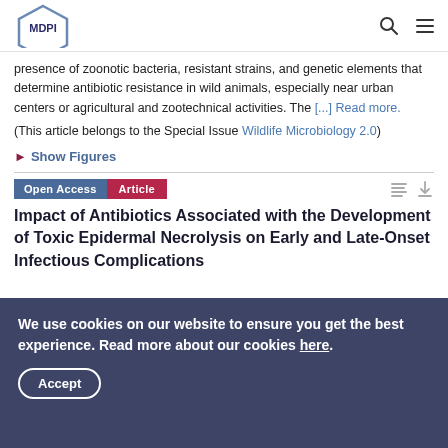MDPI
presence of zoonotic bacteria, resistant strains, and genetic elements that determine antibiotic resistance in wild animals, especially near urban centers or agricultural and zootechnical activities. The [...] Read more.
(This article belongs to the Special Issue Wildlife Microbiology 2.0)
► Show Figures
Open Access  Article
Impact of Antibiotics Associated with the Development of Toxic Epidermal Necrolysis on Early and Late-Onset Infectious Complications
We use cookies on our website to ensure you get the best experience. Read more about our cookies here. Accept